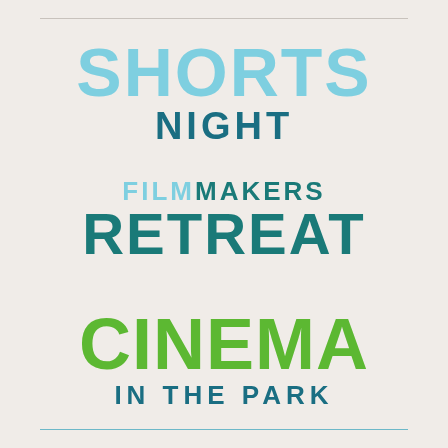SHORTS NIGHT
FILMMAKERS RETREAT
CINEMA IN THE PARK